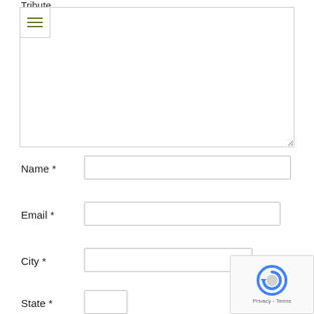Tribute
[Figure (screenshot): A text area input with a toolbar showing three horizontal lines (hamburger menu icon) at the top left, and a resizable textarea below]
Name *
[Figure (screenshot): Text input field for Name]
Email *
[Figure (screenshot): Text input field for Email]
City *
[Figure (screenshot): Text input field for City]
State *
[Figure (screenshot): Text input field for State]
[Figure (screenshot): Google reCAPTCHA widget showing the logo and Privacy - Terms text]